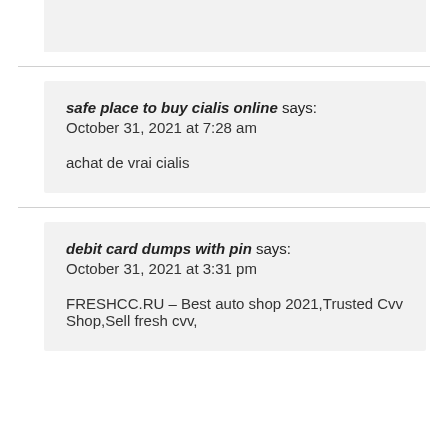safe place to buy cialis online says:
October 31, 2021 at 7:28 am

achat de vrai cialis
debit card dumps with pin says:
October 31, 2021 at 3:31 pm

FRESHCC.RU – Best auto shop 2021,Trusted Cvv Shop,Sell fresh cvv,